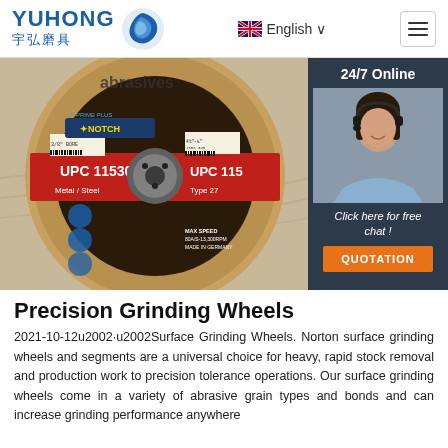[Figure (logo): YUHONG 宇弘磨具 logo with blue wave/flame icon]
English ∨
[Figure (photo): Precision grinding/cutting wheel disc (Notch A-Prime Plus, UPC 11530, Metal/Steel, Type 27) with customer service representative on right side showing 24/7 Online, Click here for free chat!, QUOTATION button]
Precision Grinding Wheels
2021-10-12u2002·u2002Surface Grinding Wheels. Norton surface grinding wheels and segments are a universal choice for heavy, rapid stock removal and production work to precision tolerance operations. Our surface grinding wheels come in a variety of abrasive grain types and bonds and can increase grinding performance anywhere